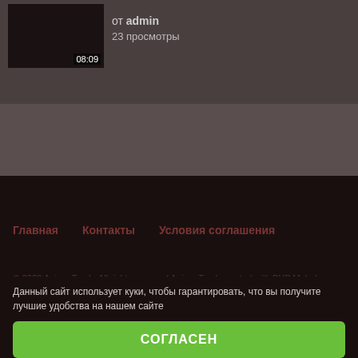[Figure (screenshot): Video thumbnail with duration 08:09 shown at bottom right]
от admin
23 просмотры
[Figure (screenshot): Dark brownish-gray mid section background]
Главная   Контакты   Условия соглашения
© 2022 Anime-Trash. All rights reserved Anime-Trash created with PHP Melody - Video CMS by Spiral Scout
Данный сайт использует куки, чтобы гарантировать, что вы получите лучшие удобства на нашем сайте
СОГЛАСЕН